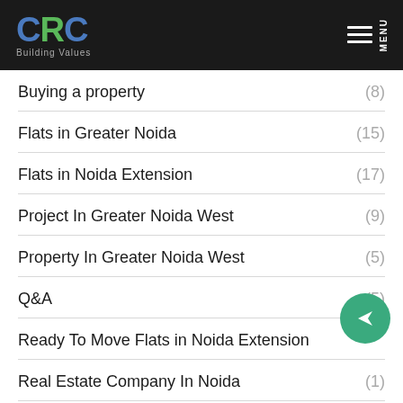CRC Building Values — Navigation Menu
Buying a property (8)
Flats in Greater Noida (15)
Flats in Noida Extension (17)
Project In Greater Noida West (9)
Property In Greater Noida West (5)
Q&A (5)
Ready To Move Flats in Noida Extension
Real Estate Company In Noida (1)